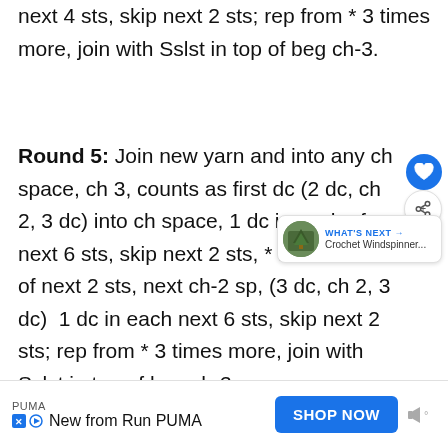next 4 sts, skip next 2 sts; rep from * 3 times more, join with Sslst in top of beg ch-3.
Round 5: Join new yarn and into any ch space, ch 3, counts as first dc (2 dc, ch 2, 3 dc) into ch space, 1 dc in each of next 6 sts, skip next 2 sts, * 1 dc in each of next 2 sts, next ch-2 sp, (3 dc, ch 2, 3 dc)  1 dc in each next 6 sts, skip next 2 sts; rep from * 3 times more, join with Sslst in top of beg ch-3.
PUMA
New from Run PUMA